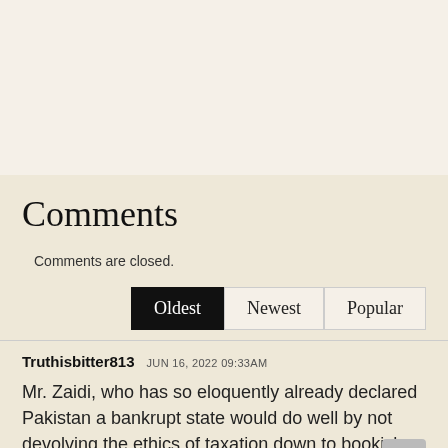Comments
Comments are closed.
Oldest  Newest  Popular
Truthisbitter813  JUN 16, 2022 09:33AM
Mr. Zaidi, who has so eloquently already declared Pakistan a bankrupt state would do well by not devolving the ethics of taxation down to bookish examples.